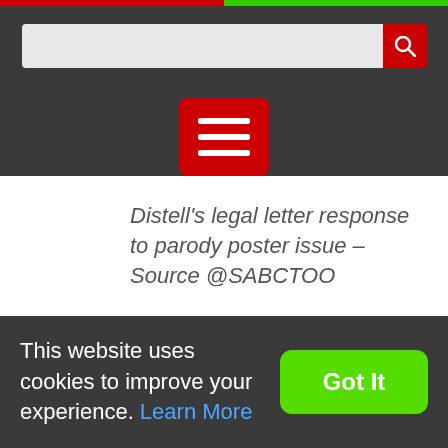[Figure (screenshot): Website header with dark background, search bar with red search button, and red hamburger menu button]
Distell's legal letter response to parody poster issue – Source @SABCTOO
This website uses cookies to improve your experience. Learn More